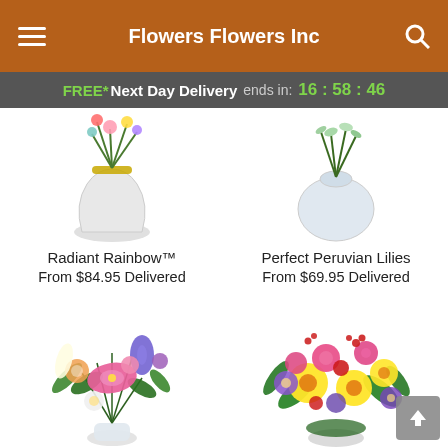Flowers Flowers Inc
FREE* Next Day Delivery ends in: 16:58:46
[Figure (photo): Flower arrangement in a vase - Radiant Rainbow]
Radiant Rainbow™
From $84.95 Delivered
[Figure (photo): Flower arrangement in a round vase - Perfect Peruvian Lilies]
Perfect Peruvian Lilies
From $69.95 Delivered
[Figure (photo): Colorful bouquet with pink lilies, purple iris, and alstroemeria]
[Figure (photo): Bright bouquet with yellow daisies, pink roses, red flowers, and purple asters]